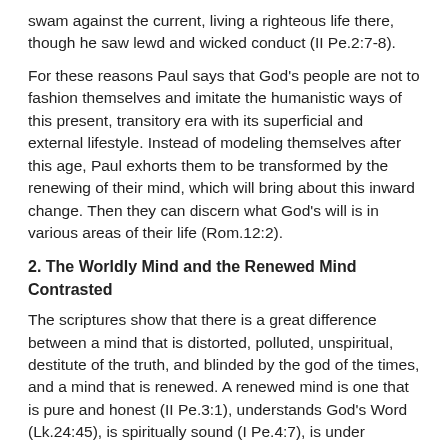swam against the current, living a righteous life there, though he saw lewd and wicked conduct (II Pe.2:7-8).
For these reasons Paul says that God's people are not to fashion themselves and imitate the humanistic ways of this present, transitory era with its superficial and external lifestyle. Instead of modeling themselves after this age, Paul exhorts them to be transformed by the renewing of their mind, which will bring about this inward change. Then they can discern what God's will is in various areas of their life (Rom.12:2).
2. The Worldly Mind and the Renewed Mind Contrasted
The scriptures show that there is a great difference between a mind that is distorted, polluted, unspiritual, destitute of the truth, and blinded by the god of the times, and a mind that is renewed. A renewed mind is one that is pure and honest (II Pe.3:1), understands God’s Word (Lk.24:45), is spiritually sound (I Pe.4:7), is under Christ’s authority (II Tim.1:7), and is occupied with what is above and not with the passing things of the world (Col.3:2). This helps to lead one, as emphasized in class, to see that true reality is actually the spiritual world, that it needs to be perceived through the spirit and lived out by what one’s spirit.
3. The Christian’s Role in the Renewed Mind